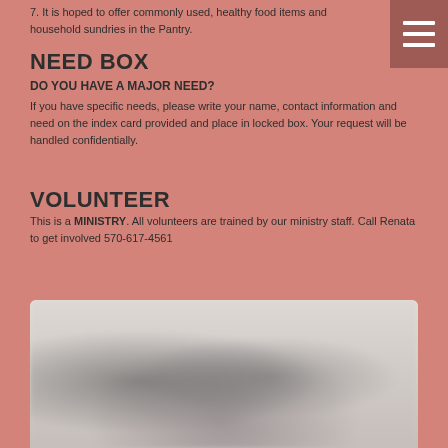7. It is hoped to offer commonly used, healthy food items and household sundries in the Pantry.
NEED BOX
DO YOU HAVE A MAJOR NEED?
If you have specific needs, please write your name, contact information and need on the index card provided and place in locked box. Your request will be handled confidentially.
VOLUNTEER
This is a MINISTRY. All volunteers are trained by our ministry staff. Call Renata to get involved 570-617-4561
[Figure (photo): Blurred photo of people or an event, appearing at the bottom of the page]